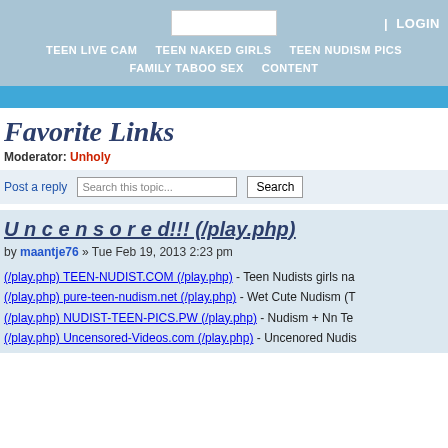| LOGIN
TEEN LIVE CAM   TEEN NAKED GIRLS   TEEN NUDISM PICS   FAMILY TABOO SEX   CONTENT
Favorite Links
Moderator: Unholy
Post a reply   Search this topic...   Search
U n c e n s o r e d!!! (/play.php)
by maantje76 » Tue Feb 19, 2013 2:23 pm
(/play.php) TEEN-NUDIST.COM (/play.php) - Teen Nudists girls na
(/play.php) pure-teen-nudism.net (/play.php) - Wet Cute Nudism (T
(/play.php) NUDIST-TEEN-PICS.PW (/play.php) - Nudism + Nn Te
(/play.php) Uncensored-Videos.com (/play.php) - Uncenored Nudis